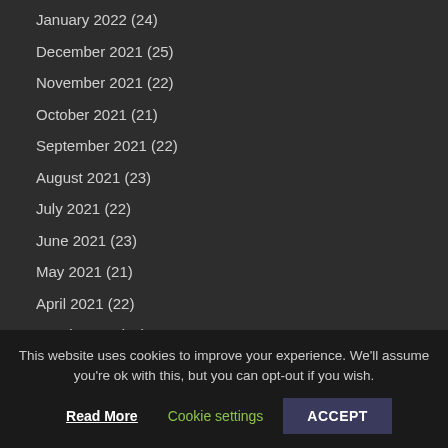January 2022 (24)
December 2021 (25)
November 2021 (22)
October 2021 (21)
September 2021 (22)
August 2021 (23)
July 2021 (22)
June 2021 (23)
May 2021 (21)
April 2021 (22)
March 2021 (23)
February 2021 (20)
This website uses cookies to improve your experience. We'll assume you're ok with this, but you can opt-out if you wish.
Read More | Cookie settings | ACCEPT